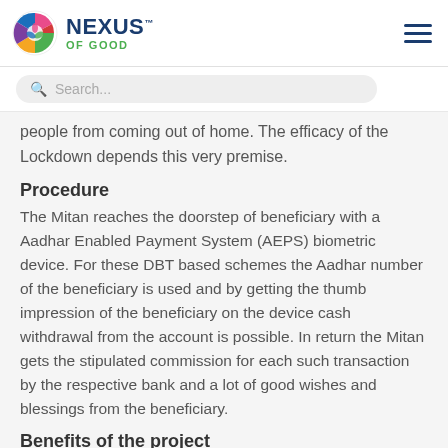Nexus of Good
people from coming out of home. The efficacy of the Lockdown depends this very premise.
Procedure
The Mitan reaches the doorstep of beneficiary with a Aadhar Enabled Payment System (AEPS) biometric device. For these DBT based schemes the Aadhar number of the beneficiary is used and by getting the thumb impression of the beneficiary on the device cash withdrawal from the account is possible. In return the Mitan gets the stipulated commission for each such transaction by the respective bank and a lot of good wishes and blessings from the beneficiary.
Benefits of the project
1. With the recent announcement of the government of